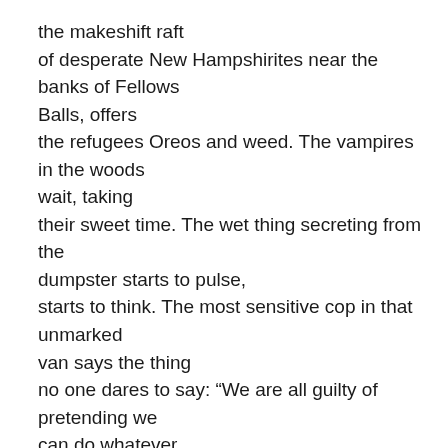the makeshift raft of desperate New Hampshirites near the banks of Fellows Balls, offers the refugees Oreos and weed. The vampires in the woods wait, taking their sweet time. The wet thing secreting from the dumpster starts to pulse, starts to think. The most sensitive cop in that unmarked van says the thing no one dares to say: “We are all guilty of pretending we can do whatever we want.”